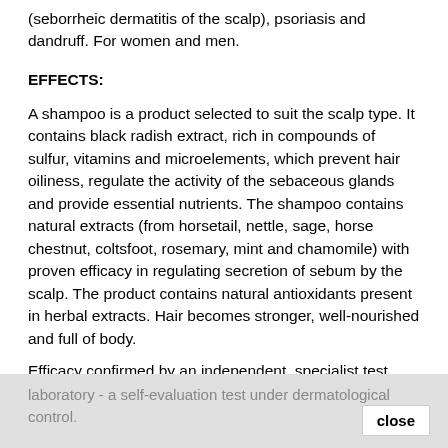(seborrheic dermatitis of the scalp), psoriasis and dandruff. For women and men.
EFFECTS:
A shampoo is a product selected to suit the scalp type. It contains black radish extract, rich in compounds of sulfur, vitamins and microelements, which prevent hair oiliness, regulate the activity of the sebaceous glands and provide essential nutrients. The shampoo contains natural extracts (from horsetail, nettle, sage, horse chestnut, coltsfoot, rosemary, mint and chamomile) with proven efficacy in regulating secretion of sebum by the scalp. The product contains natural antioxidants present in herbal extracts. Hair becomes stronger, well-nourished and full of body.
Efficacy confirmed by an independent, specialist test laboratory - a self-evaluation test under dermatological control.